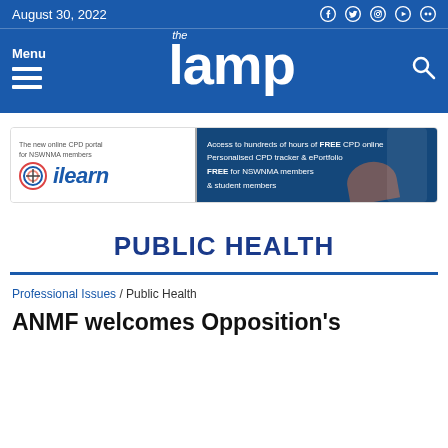August 30, 2022
[Figure (logo): The Lamp logo with menu and search icons on blue background]
[Figure (infographic): ilearn CPD portal advertisement banner for NSWNMA members]
PUBLIC HEALTH
Professional Issues / Public Health
ANME welcomes Opposition's